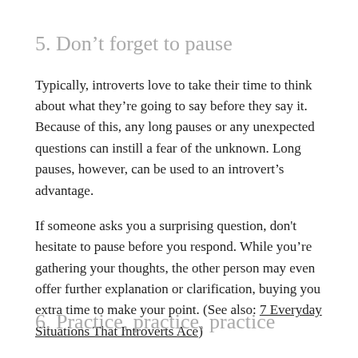5. Don’t forget to pause
Typically, introverts love to take their time to think about what they’re going to say before they say it. Because of this, any long pauses or any unexpected questions can instill a fear of the unknown. Long pauses, however, can be used to an introvert’s advantage.
If someone asks you a surprising question, don't hesitate to pause before you respond. While you’re gathering your thoughts, the other person may even offer further explanation or clarification, buying you extra time to make your point. (See also: 7 Everyday Situations That Introverts Ace)
6. Practice, practice, practice